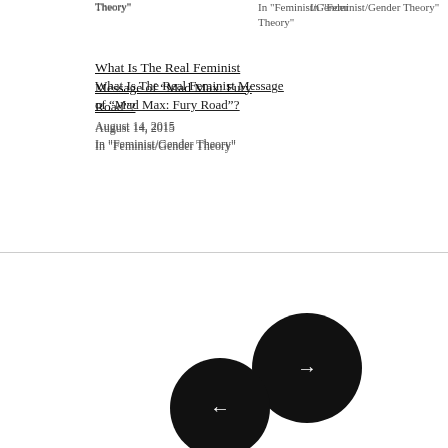Theory"
In "Feminist/Gender Theory"
What Is The Real Feminist Message of “Mad Max: Fury Road”?
August 14, 2015
In "Feminist/Gender Theory"
[Figure (other): Navigation buttons: a black circle with a right arrow (next) and a black circle with a left arrow (previous)]